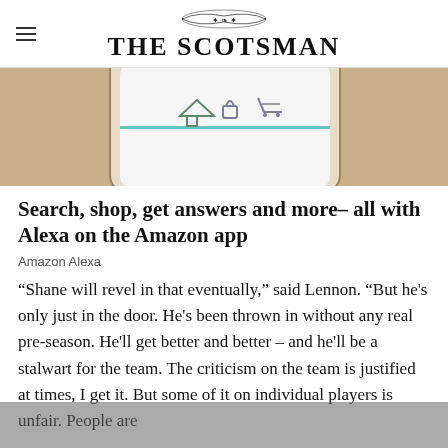THE SCOTSMAN
[Figure (photo): A hand holding a smartphone showing an app interface with home, lock, and cart icons on screen]
Search, shop, get answers and more– all with Alexa on the Amazon app
Amazon Alexa
“Shane will revel in that eventually,” said Lennon. “But he's only just in the door. He's been thrown in without any real pre-season. He'll get better and better – and he'll be a stalwart for the team. The criticism on the team is justified at times, I get it. But some of it on individual players is unfair. People are